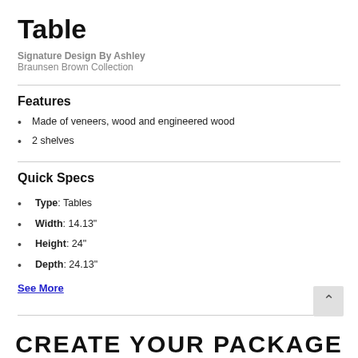Table
Signature Design By Ashley
Braunsen Brown Collection
Features
Made of veneers, wood and engineered wood
2 shelves
Quick Specs
Type: Tables
Width: 14.13"
Height: 24"
Depth: 24.13"
See More
CREATE YOUR PACKAGE